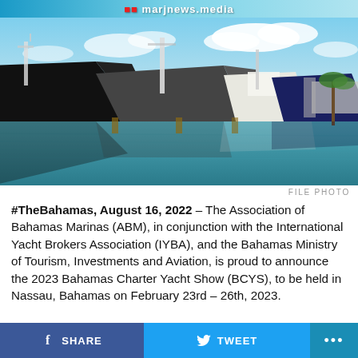marjnews.media
[Figure (photo): Luxury yachts and superyachts docked in a marina with blue sky and clouds in the background, water reflections visible.]
FILE PHOTO
#TheBahamas, August 16, 2022 – The Association of Bahamas Marinas (ABM), in conjunction with the International Yacht Brokers Association (IYBA), and the Bahamas Ministry of Tourism, Investments and Aviation, is proud to announce the 2023 Bahamas Charter Yacht Show (BCYS), to be held in Nassau, Bahamas on February 23rd – 26th, 2023.
SHARE   TWEET   ...